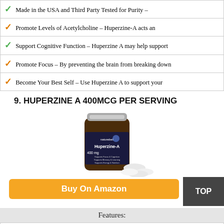Made in the USA and Third Party Tested for Purity –
Promote Levels of Acetylcholine – Huperzine-A acts an
Support Cognitive Function – Huperzine A may help support
Promote Focus – By preventing the brain from breaking down
Become Your Best Self – Use Huperzine A to support your
9. HUPERZINE A 400MCG PER SERVING
[Figure (photo): Bottle of NatureBell Huperzine-A 400mg supplement with capsules scattered in front]
Buy On Amazon
TOP
Features:
Maximum Strength – ...